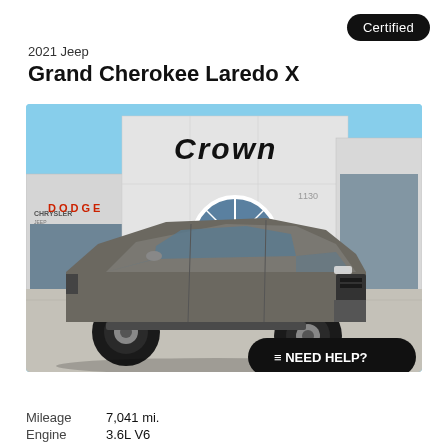Certified
2021 Jeep
Grand Cherokee Laredo X
[Figure (photo): 2021 Jeep Grand Cherokee Laredo X in gray parked in front of Crown Chrysler Dodge dealership on a clear sunny day]
NEED HELP?
Mileage	7,041 mi.
Engine	3.6L V6